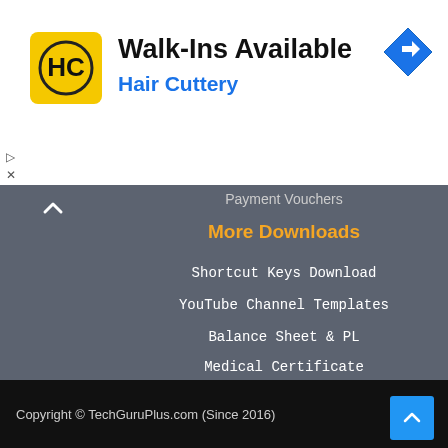[Figure (logo): Hair Cuttery logo - HC letters in black on yellow background]
Walk-Ins Available
Hair Cuttery
Payment Vouchers
More Downloads
Shortcut Keys Download
YouTube Channel Templates
Balance Sheet & PL
Medical Certificate
Copyright © TechGuruPlus.com (Since 2016)